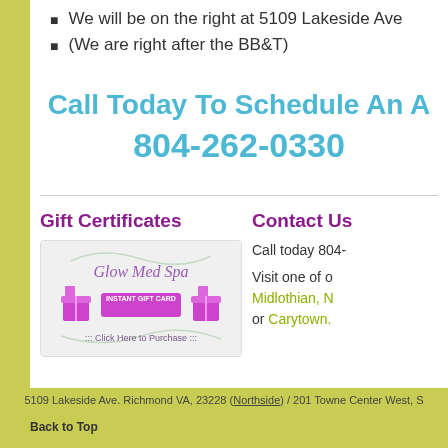We will be on the right at 5109 Lakeside Ave
(We are right after the BB&T)
Call Today To Schedule An A... 804-262-0330
Gift Certificates
[Figure (illustration): Glow Med Spa Instant Gift Card promotional image with gift boxes and cursive logo, Click Here to Purchase]
Contact Us
Call today 804-...
Visit one of o... Midlothian, N... or Carytown.
5109 Lakeside Ave. Richmond VA, 23228 (Northside) / 201 Towne Center West, S...
Back to Top